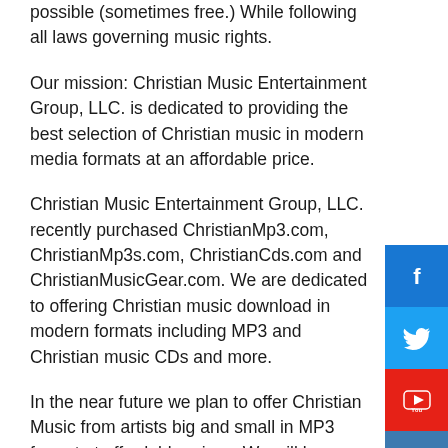possible (sometimes free.) While following all laws governing music rights.
Our mission: Christian Music Entertainment Group, LLC. is dedicated to providing the best selection of Christian music in modern media formats at an affordable price.
Christian Music Entertainment Group, LLC. recently purchased ChristianMp3.com, ChristianMp3s.com, ChristianCds.com and ChristianMusicGear.com. We are dedicated to offering Christian music download in modern formats including MP3 and Christian music CDs and more.
In the near future we plan to offer Christian Music from artists big and small in MP3 format at affordable prices. We will be offering some FREE MP3s...
[Figure (infographic): Social media buttons sidebar: Facebook (blue), Twitter (light blue), YouTube (red), Instagram (steel blue)]